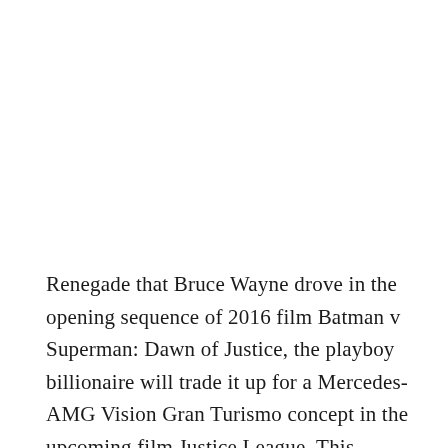Renegade that Bruce Wayne drove in the opening sequence of 2016 film Batman v Superman: Dawn of Justice, the playboy billionaire will trade it up for a Mercedes-AMG Vision Gran Turismo concept in the upcoming film Justice League. This means that the Bat has … [Read more...]